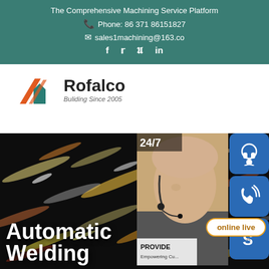The Comprehensive Machining Service Platform
Phone: 86 371 86151827
sales1machining@163.co
Social icons: f (Facebook), Twitter, Pinterest, in (LinkedIn)
[Figure (logo): Rofalco logo with geometric house/arrow mark in orange and teal, text 'Rofalco' and tagline 'Buliding Since 2005']
[Figure (photo): Dark bokeh background with colorful light streaks. Overlaid side panel showing customer service representative with headset and 24/7 badge, three blue icon buttons (headset, phone, Skype), 'online live' button, and 'PROVIDE / Empowering Cu...' text.]
Automatic Welding